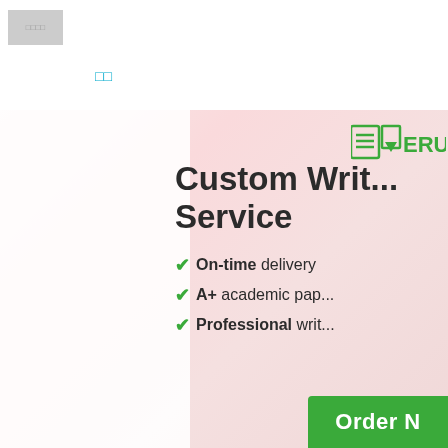[Figure (logo): Small logo image placeholder in top left corner]
□□
[Figure (logo): EruditeCraft or similar writing service brand logo with document icon and green text 'ERU...']
Custom Writing Service
On-time delivery
A+ academic papers
Professional writers
Order N...